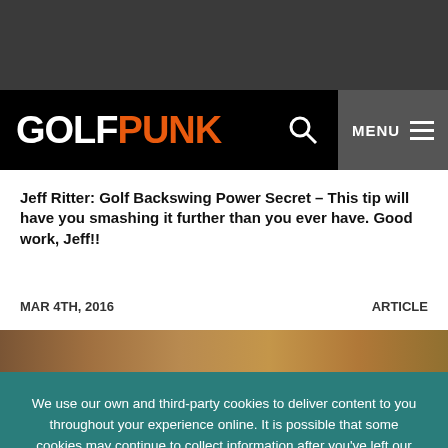[Figure (logo): GolfPunk logo in white and orange on black navigation bar]
Jeff Ritter: Golf Backswing Power Secret – This tip will have you smashing it further than you ever have. Good work, Jeff!!
MAR 4TH, 2016    ARTICLE
[Figure (photo): Partial photo of a golf-related image, cropped at bottom]
We use our own and third-party cookies to deliver content to you throughout your experience online. It is possible that some cookies may continue to collect information after you've left our site. By using our site, you consent to cookies. Learn more here.
OK, GOT IT!